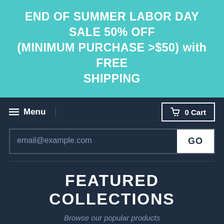END OF SUMMER LABOR DAY SALE 50% OFF (MINIMUM PURCHASE >$50) with FREE SHIPPING
Menu
0 Cart
email@example.com
GO
FEATURED COLLECTIONS
Browse our popular products
SHOP
COLLECTIONS
OUR STORY
BLOG
MEDIA